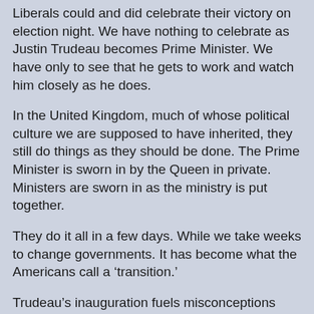Liberals could and did celebrate their victory on election night. We have nothing to celebrate as Justin Trudeau becomes Prime Minister. We have only to see that he gets to work and watch him closely as he does.
In the United Kingdom, much of whose political culture we are supposed to have inherited, they still do things as they should be done. The Prime Minister is sworn in by the Queen in private. Ministers are sworn in as the ministry is put together.
They do it all in a few days. While we take weeks to change governments. It has become what the Americans call a ‘transition.’
Trudeau’s inauguration fuels misconceptions about how our government works. The next election is scheduled for October 21, 2019. The likelihood of anything upsetting the schedule or the Liberal government being overthrown before the next election is extremely remote. But legally and constitutionally it is, and must be, a possibility, and we should understand that.